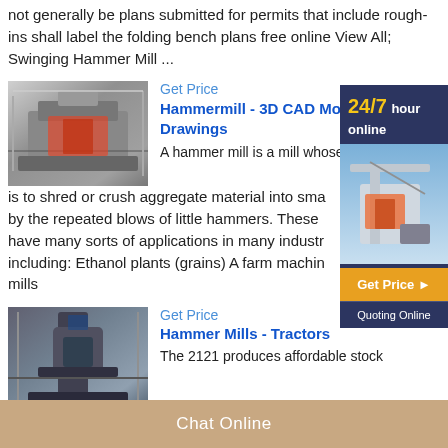not generally be plans submitted for permits that include rough-ins shall label the folding bench plans free online View All; Swinging Hammer Mill ...
Get Price
Hammermill - 3D CAD Models Drawings
A hammer mill is a mill whose is to shred or crush aggregate material into smaller parts by the repeated blows of little hammers. These have many sorts of applications in many industries including: Ethanol plants (grains) A farm machine mills
[Figure (photo): Industrial hammer mill machinery in a factory setting]
[Figure (photo): Advertisement sidebar: 24/7 hour online, heavy machinery image, Get Price button, Quoting Online]
Get Price
Hammer Mills - Tractors
The 2121 produces affordable stock
[Figure (photo): Industrial vertical mill machinery in a factory setting]
Chat Online